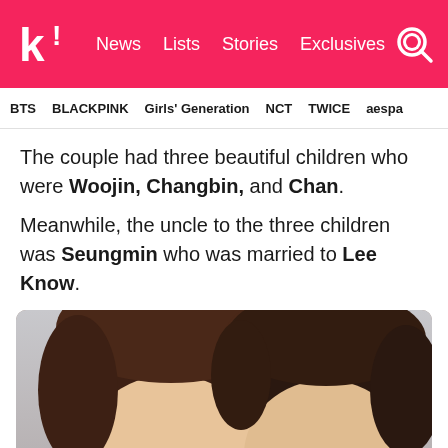k! News Lists Stories Exclusives
BTS BLACKPINK Girls' Generation NCT TWICE aespa
The couple had three beautiful children who were Woojin, Changbin, and Chan.
Meanwhile, the uncle to the three children was Seungmin who was married to Lee Know.
[Figure (photo): Close-up photo of two young Asian men with brown hair, cropped at forehead level, showing their eyes. One on the left has lighter hair and no visible accessories; the one on the right has darker hair and a small earring.]